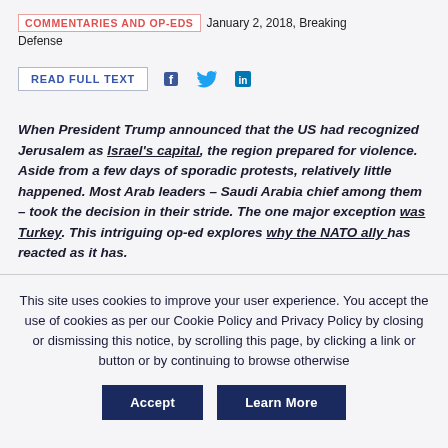COMMENTARIES AND OP-EDS  January 2, 2018, Breaking Defense
READ FULL TEXT  f  twitter  in
When President Trump announced that the US had recognized Jerusalem as Israel's capital, the region prepared for violence. Aside from a few days of sporadic protests, relatively little happened. Most Arab leaders – Saudi Arabia chief among them – took the decision in their stride. The one major exception was Turkey. This intriguing op-ed explores why the NATO ally has reacted as it has.
This site uses cookies to improve your user experience. You accept the use of cookies as per our Cookie Policy and Privacy Policy by closing or dismissing this notice, by scrolling this page, by clicking a link or button or by continuing to browse otherwise
Accept  Learn More